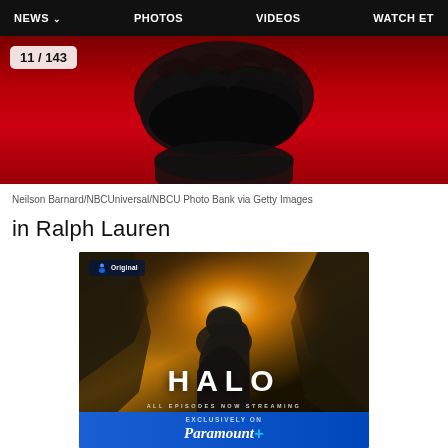NEWS  PHOTOS  VIDEOS  WATCH ET
[Figure (photo): Partial view of a person with dark hair on a red carpet background, showing 11/143 photo counter badge]
Neilson Barnard/NBCUniversal/NBCU Photo Bank via Getty Images
in Ralph Lauren
[Figure (photo): Advertisement for Halo TV series on Paramount+. Shows armored character from behind against rocky canyon with bright sun. Text: HALO ALL EPISODES NOW STREAMING. Bottom bar: EXCLUSIVELY ON Paramount+]